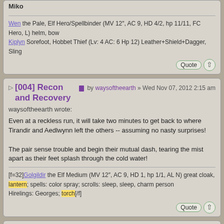Miko
Wen the Pale, Elf Hero/Spellbinder (MV 12", AC 9, HD 4/2, hp 11/11, FC Hero, L) helm, bow
Kiplyn Sorefoot, Hobbet Thief (Lv: 4 AC: 6 Hp 12) Leather+Shield+Dagger, Sling
[004] Recon and Recovery
by waysoftheearth » Wed Nov 07, 2012 2:15 am
waysoftheearth wrote:
Even at a reckless run, it will take two minutes to get back to where Tirandir and Aedlwynn left the others -- assuming no nasty surprises!

The pair sense trouble and begin their mutual dash, tearing the mist apart as their feet splash through the cold water!
[f=32]Golgildir the Elf Medium (MV 12", AC 9, HD 1, hp 1/1, AL N) great cloak, lantern; spells: color spray; scrolls: sleep, sleep, charm person
Hirelings: Georges; torch[/f]